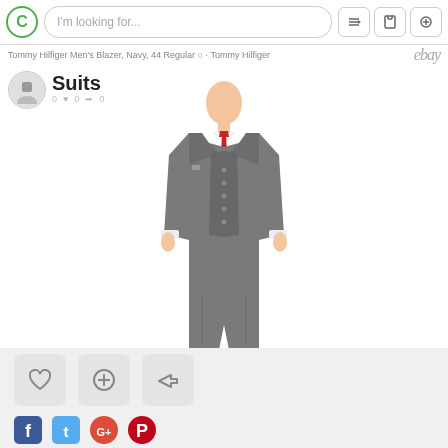I'm looking for...
Tommy Hilfiger Men's Blazer, Navy, 44 Regular ○ · Tommy Hilfiger
ebay
Suits
0  0  0
[Figure (photo): A man wearing a grey three-piece suit with a red tie and white dress shirt, standing in a product photo pose against a white background]
♥  ✛  ↪